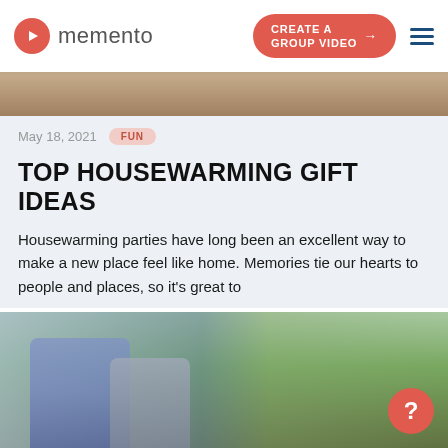memento | CREATE A GROUP VIDEO
[Figure (photo): Partial top image, cropped housewarming photo]
May 18, 2021  FUN
TOP HOUSEWARMING GIFT IDEAS
Housewarming parties have long been an excellent way to make a new place feel like home. Memories tie our hearts to people and places, so it's great to
READ POST
[Figure (photo): Two people hugging outdoors near a lake with green trees, viewed from behind. Orange help button in bottom right.]